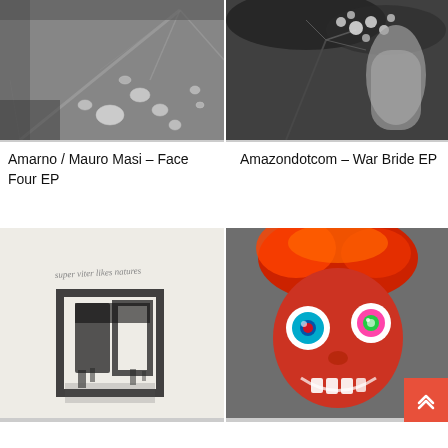[Figure (photo): Black and white close-up photo of water droplets on a large leaf with visible veins]
[Figure (photo): Black and white photo of a hand holding a small bunch of delicate white flowers]
Amarno / Mauro Masi – Face Four EP
Amazondotcom – War Bride EP
[Figure (photo): Album cover with light grey/white background featuring handwritten text 'super vito likes nature' and a dark ink stamp-like rectangular graphic]
[Figure (photo): Colorful photo of a bizarre troll-like creature with wild red/orange hair, large googly multicolored eyes, and an open mouth showing teeth]